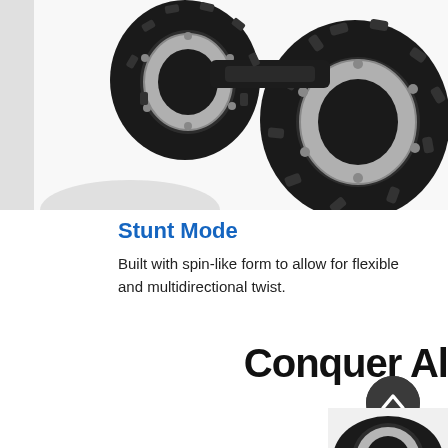[Figure (photo): Close-up of large monster truck tires/wheels with aggressive tread pattern and silver/black beadlock-style rims, viewed from above on white background]
Stunt Mode
Built with spin-like form to allow for flexible and multidirectional twist.
Conquer All
[Figure (photo): Partial view of another monster truck or wheel at the bottom right of the page]
[Figure (other): Circular dark scroll-up arrow button]